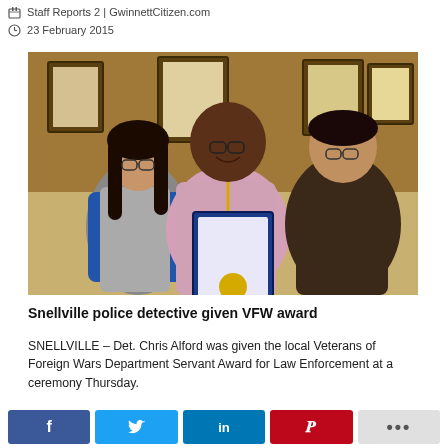Staff Reports 2 | GwinnettCitizen.com
23 February 2015
[Figure (photo): Three people standing together indoors; the person in the middle holds a framed certificate. The person on the left wears a varsity jacket, the person on the right wears a dark winter coat. Framed items hang on the wall in the background.]
Snellville police detective given VFW award
SNELLVILLE – Det. Chris Alford was given the local Veterans of Foreign Wars Department Servant Award for Law Enforcement at a ceremony Thursday.